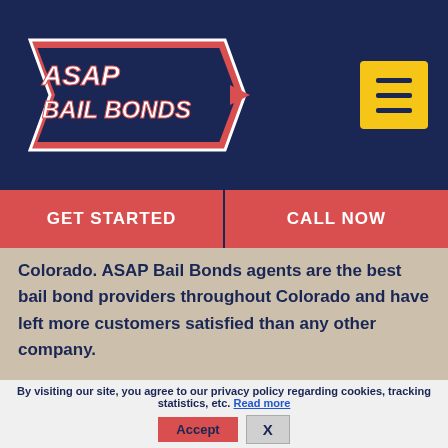[Figure (logo): ASAP Bail Bonds logo — stylized text in red, white, blue with arrow motif on dark navy header]
GET STARTED
CALL NOW
Colorado. ASAP Bail Bonds agents are the best bail bond providers throughout Colorado and have left more customers satisfied than any other company.
LEARN MORE
By visiting our site, you agree to our privacy policy regarding cookies, tracking statistics, etc. Read more
Accept
X